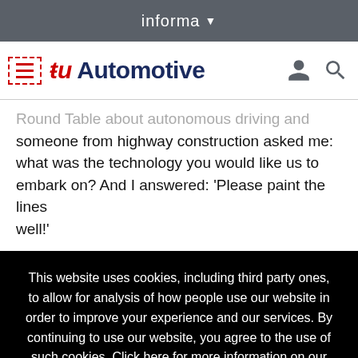informa
[Figure (logo): TU Automotive logo with hamburger menu, user icon and search icon]
Round Table about autonomous driving and someone from highway construction asked me: what was the technology you would like us to embark on? And I answered: 'Please paint the lines well!'
This website uses cookies, including third party ones, to allow for analysis of how people use our website in order to improve your experience and our services. By continuing to use our website, you agree to the use of such cookies. Click here for more information on our Cookie Policy and Privacy Policy.